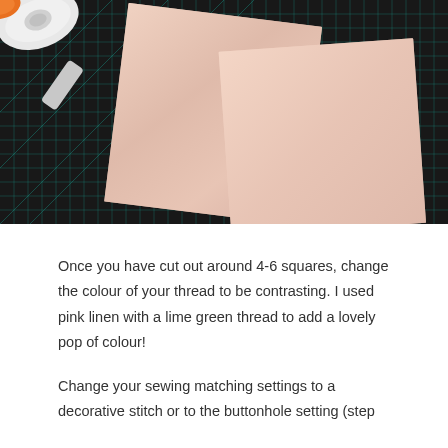[Figure (photo): Overhead photo of pink linen fabric squares laid on a dark cutting mat with cyan grid lines. A white rotary cutter is visible in the upper left corner.]
Once you have cut out around 4-6 squares, change the colour of your thread to be contrasting. I used pink linen with a lime green thread to add a lovely pop of colour!
Change your sewing matching settings to a decorative stitch or to the buttonhole setting (step